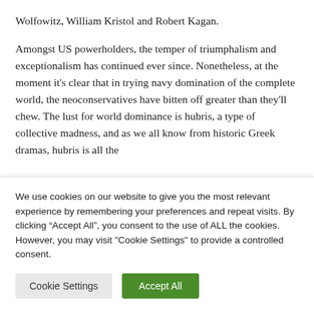Wolfowitz, William Kristol and Robert Kagan.
Amongst US powerholders, the temper of triumphalism and exceptionalism has continued ever since. Nonetheless, at the moment it’s clear that in trying navy domination of the complete world, the neoconservatives have bitten off greater than they’ll chew. The lust for world dominance is hubris, a type of collective madness, and as we all know from historic Greek dramas, hubris is all the
We use cookies on our website to give you the most relevant experience by remembering your preferences and repeat visits. By clicking “Accept All”, you consent to the use of ALL the cookies. However, you may visit "Cookie Settings" to provide a controlled consent.